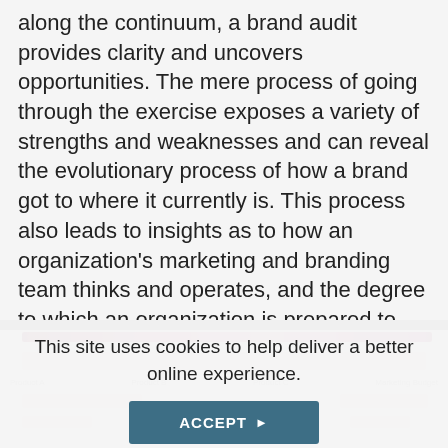along the continuum, a brand audit provides clarity and uncovers opportunities. The mere process of going through the exercise exposes a variety of strengths and weaknesses and can reveal the evolutionary process of how a brand got to where it currently is. This process also leads to insights as to how an organization's marketing and branding team thinks and operates, and the degree to which an organization is prepared to better manage its brand.
[Figure (other): Partially visible chart or table obscured by cookie consent overlay, showing a colored horizontal bar at top (purple/pink gradient) and blurred rows of content below]
This site uses cookies to help deliver a better online experience.
ACCEPT ▶